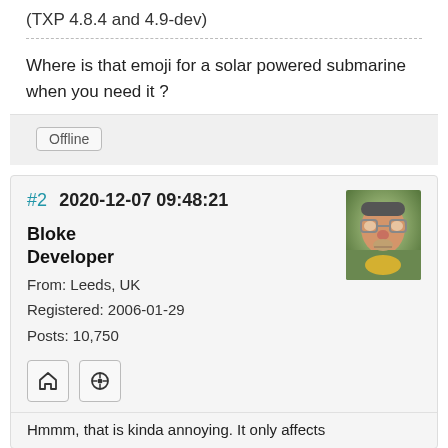(TXP 4.8.4 and 4.9-dev)
Where is that emoji for a solar powered submarine when you need it ?
Offline
#2  2020-12-07 09:48:21
Bloke
Developer
From: Leeds, UK
Registered: 2006-01-29
Posts: 10,750
[Figure (photo): Avatar photo of forum user Bloke]
Hmmm, that is kinda annoying. It only affects